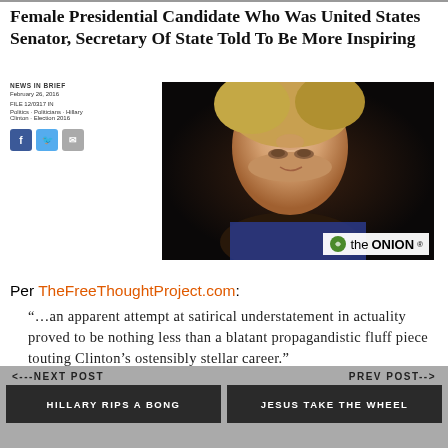Female Presidential Candidate Who Was United States Senator, Secretary Of State Told To Be More Inspiring
[Figure (screenshot): Screenshot of The Onion article with headline and photo of Hillary Clinton, with The Onion logo]
Per TheFreeThoughtProject.com:
“…an apparent attempt at satirical understatement in actuality proved to be nothing less than a blatant propagandistic fluff piece touting Clinton’s ostensibly stellar career.”
<---NEXT POST   PREV POST-->   HILLARY RIPS A BONG   JESUS TAKE THE WHEEL